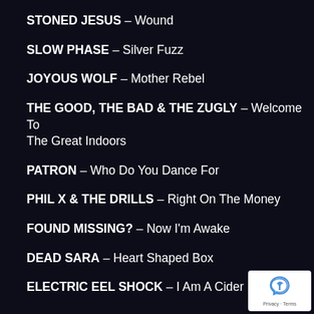STONED JESUS – Wound
SLOW PHASE – Silver Fuzz
JOYOUS WOLF – Mother Rebel
THE GOOD, THE BAD & THE ZUGLY – Welcome To The Great Indoors
PATRON – Who Do You Dance For
PHIL X & THE DRILLS – Right On The Money
FOUND MISSING? – Now I'm Awake
DEAD SARA – Heart Shaped Box
ELECTRIC EEL SHOCK – I Am A Cider Drinker
[Figure (logo): reCAPTCHA logo with Privacy and Terms text]